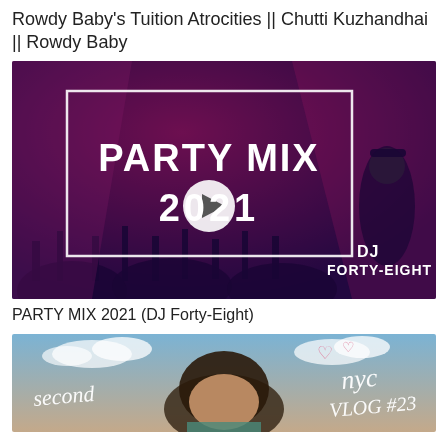Rowdy Baby's Tuition Atrocities || Chutti Kuzhandhai || Rowdy Baby
[Figure (screenshot): Video thumbnail for PARTY MIX 2021 by DJ Forty-Eight. Dark purple/magenta background with crowd silhouettes, white rectangular border, large white text reading 'PARTY MIX 2021' with a play button icon over the zero. DJ figure in black outfit in bottom right with text 'DJ FORTY-EIGHT'.]
PARTY MIX 2021 (DJ Forty-Eight)
[Figure (screenshot): Video thumbnail showing a young woman with dark hair looking down, sky and clouds background, handwritten-style text reading 'second' on left and 'nyc VLOG #23' on right with heart doodles at top.]